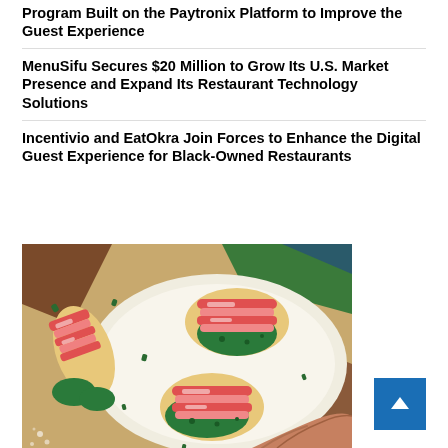Program Built on the Paytronix Platform to Improve the Guest Experience
MenuSifu Secures $20 Million to Grow Its U.S. Market Presence and Expand Its Restaurant Technology Solutions
Incentivio and EatOkra Join Forces to Enhance the Digital Guest Experience for Black-Owned Restaurants
[Figure (illustration): Colorful flat illustration showing a top-down view of tacos on a white plate with green guacamole, red salsa, and a hand reaching in from the bottom right. Background features warm yellow, brown, green, and teal tones.]